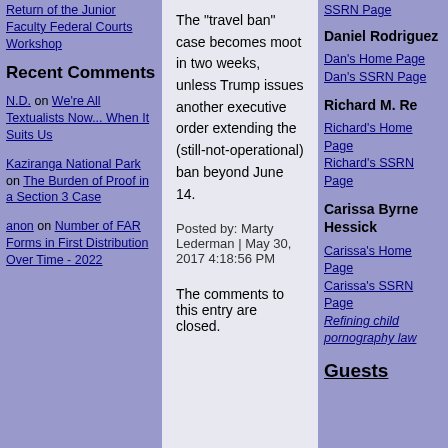Return of the Junior Faculty Federal Courts Workshop
Recent Comments
N.D. on We're All Textualists Now... When It Suits Us
Kaziranga National Park on The Burden of Proof in a Section 3 Case
anon on Number of FAR Forms in First Distribution Over Time - 2022
The "travel ban" case becomes moot in two weeks, unless Trump issues another executive order extending the (still-not-operational) ban beyond June 14.
Posted by: Marty Lederman | May 30, 2017 4:18:56 PM
The comments to this entry are closed.
Daniel Rodriguez
Dan's Home Page
Dan's SSRN Page
Richard M. Re
Richard's Home Page
Richard's SSRN Page
Carissa Byrne Hessick
Carissa's Home Page
Carissa's SSRN Page
Refining child pornography law
Guests